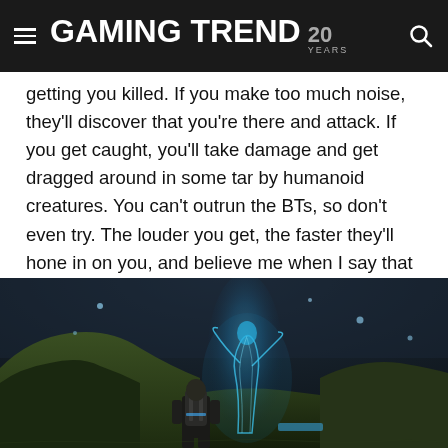GAMING TREND 20 YEARS
getting you killed. If you make too much noise, they'll discover that you're there and attack. If you get caught, you'll take damage and get dragged around in some tar by humanoid creatures. You can't outrun the BTs, so don't even try. The louder you get, the faster they'll hone in on you, and believe me when I say that they are much faster than you.
[Figure (screenshot): Screenshot from a video game showing a character with a backpack viewed from behind, standing on a dark rocky hillside at night. A large glowing blue translucent creature (BT) stands tall on the hill in the background, with a dim, overcast sky.]